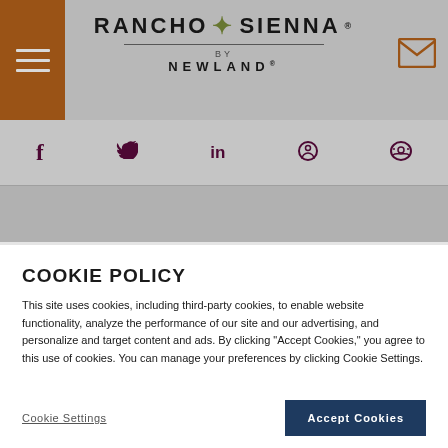[Figure (logo): Rancho Sienna by Newland logo with star emblem in header, hamburger menu icon on left, mail icon on right]
[Figure (infographic): Social media icons row: Facebook, Twitter, LinkedIn, Pinterest, Reddit — in dark purple/maroon color]
< PREVIOUS POST
OLDER POST >
COOKIE POLICY
This site uses cookies, including third-party cookies, to enable website functionality, analyze the performance of our site and our advertising, and personalize and target content and ads. By clicking "Accept Cookies," you agree to this use of cookies. You can manage your preferences by clicking Cookie Settings.
Cookie Settings
Accept Cookies